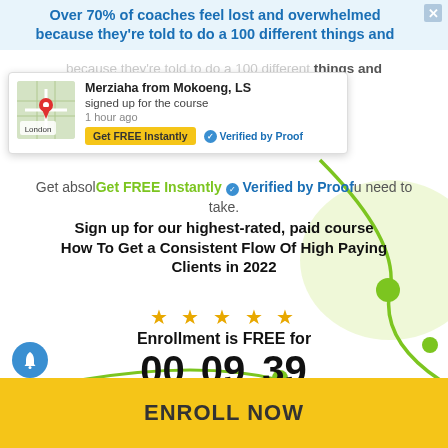Over 70% of coaches feel lost and overwhelmed because they're told to do a 100 different things and
[Figure (screenshot): Popup notification showing Merziaha from Mokoeng, LS signed up for the course 1 hour ago, with a map thumbnail, Get FREE Instantly button, and Verified by Proof badge]
Get absolutely clear on the exact steps you need to take.
Sign up for our highest-rated, paid course How To Get a Consistent Flow Of High Paying Clients in 2022
★ ★ ★ ★ ★
Enrollment is FREE for
00 Hours  09 Minutes  39 Seconds
ENROLL NOW